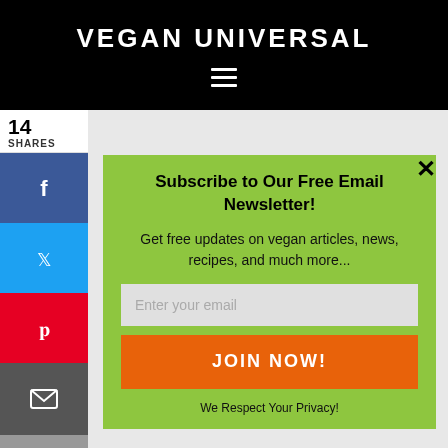VEGAN UNIVERSAL
[Figure (screenshot): Hamburger menu icon (three horizontal white lines) on black background]
14
SHARES
[Figure (screenshot): Social share sidebar with Facebook (blue), Twitter (cyan), Pinterest (red), Email (dark grey), and plus (grey) buttons]
[Figure (screenshot): Newsletter subscription modal popup with green background. Contains title 'Subscribe to Our Free Email Newsletter!', body text 'Get free updates on vegan articles, news, recipes, and much more...', an email input field, an orange JOIN NOW! button, and 'We Respect Your Privacy!' text at the bottom.]
Subscribe to Our Free Email Newsletter!
Get free updates on vegan articles, news, recipes, and much more...
Enter your email
JOIN NOW!
We Respect Your Privacy!